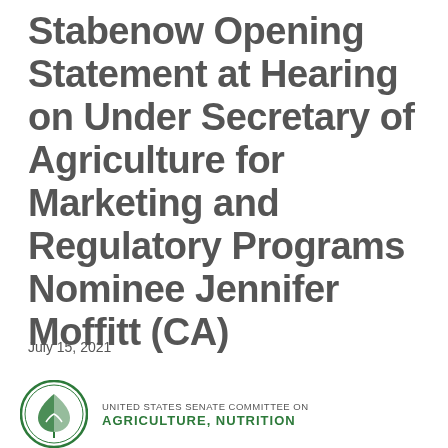Stabenow Opening Statement at Hearing on Under Secretary of Agriculture for Marketing and Regulatory Programs Nominee Jennifer Moffitt (CA)
July 15, 2021
[Figure (logo): United States Senate Committee on Agriculture, Nutrition seal/logo — circular green and white emblem with a leaf/wheat graphic — followed by the text 'UNITED STATES SENATE COMMITTEE ON AGRICULTURE, NUTRITION']